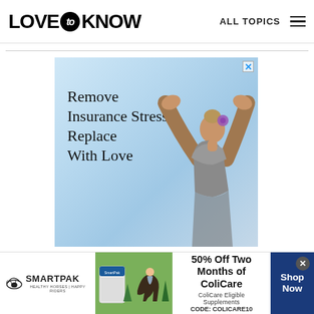LOVE to KNOW   ALL TOPICS
[Figure (illustration): Insurance advertisement showing a woman doing yoga with arms raised overhead forming a triangle/house shape. Sky background. Text reads: Remove Insurance Stress Replace With Love]
[Figure (illustration): SmartPak advertisement banner at bottom. Shows product, horse and rider. Text: 50% Off Two Months of ColiCare. ColiCare Eligible Supplements. CODE: COLICARE10. Shop Now button.]